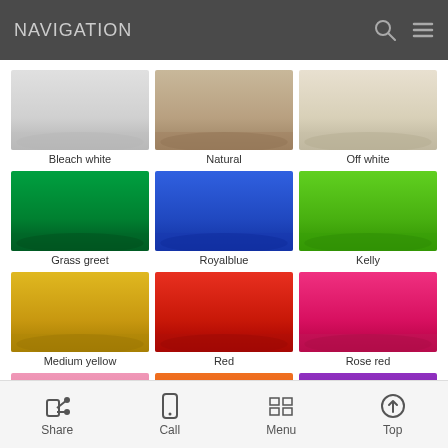NAVIGATION
[Figure (photo): Grid of fabric color swatches: Bleach white, Natural, Off white, Grass green, Royalblue, Kelly, Medium yellow, Red, Rose red, Pink, Orange, Purple]
Share | Call | Menu | Top